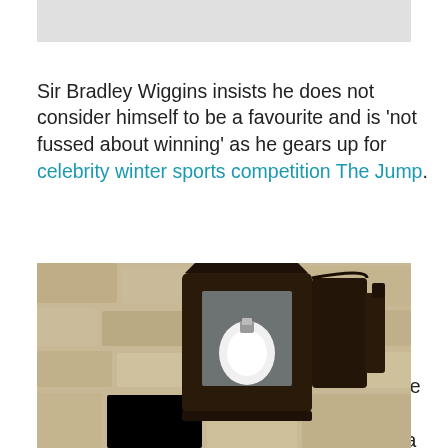[Figure (photo): Gray rectangle at top, partial image cropped from above]
Sir Bradley Wiggins insists he does not consider himself to be a favourite and is 'not fussed about winning' as he gears up for celebrity winter sports competition The Jump.
The retired cyclist – one of several sports stars taking part in the Channel 4 programme – says he is planning to take the gruelling contest a day at a time and just hopes that he comes out the other side as a better skier.
Sponsored Links
[Figure (photo): Photograph of a dark metal outdoor lantern mounted on a textured stone wall, with a white light bulb visible inside]